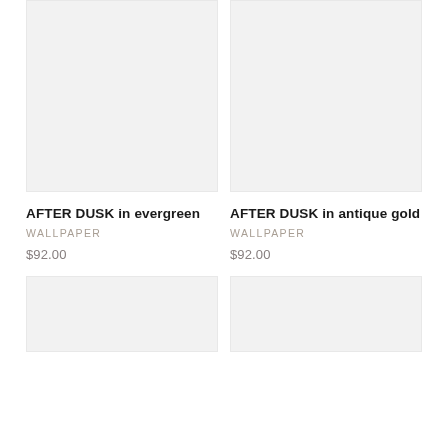[Figure (photo): Product image placeholder for AFTER DUSK in evergreen wallpaper, light gray rectangle]
[Figure (photo): Product image placeholder for AFTER DUSK in antique gold wallpaper, light gray rectangle]
AFTER DUSK in evergreen
WALLPAPER
$92.00
AFTER DUSK in antique gold
WALLPAPER
$92.00
[Figure (photo): Product image placeholder bottom left, light gray rectangle]
[Figure (photo): Product image placeholder bottom right, light gray rectangle]